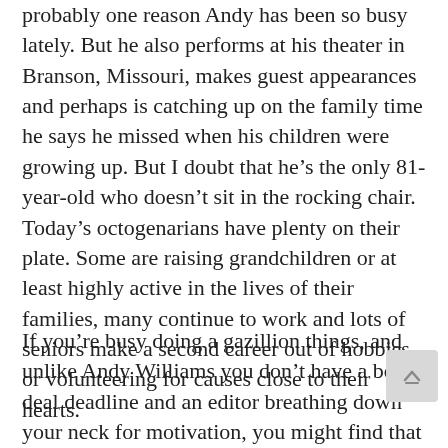probably one reason Andy has been so busy lately. But he also performs at his theater in Branson, Missouri, makes guest appearances and perhaps is catching up on the family time he says he missed when his children were growing up. But I doubt that he's the only 81-year-old who doesn't sit in the rocking chair. Today's octogenarians have plenty on their plate. Some are raising grandchildren or at least highly active in the lives of their families, many continue to work and lots of seniors make a second career out of hobbies or volunteering for causes close to their hearts.
If you're busy doing a gazillion things, and unlike Andy Williams you don't have a book deal deadline and an editor breathing down your neck for motivation, you might find that days